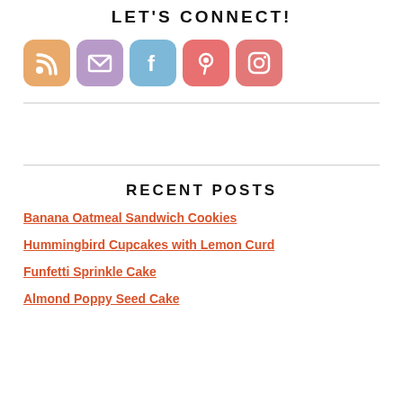LET'S CONNECT!
[Figure (infographic): Row of five social media icon buttons: RSS (orange), Email/envelope (purple), Facebook (blue), Pinterest (pink-red), Instagram (salmon-red)]
RECENT POSTS
Banana Oatmeal Sandwich Cookies
Hummingbird Cupcakes with Lemon Curd
Funfetti Sprinkle Cake
Almond Poppy Seed Cake